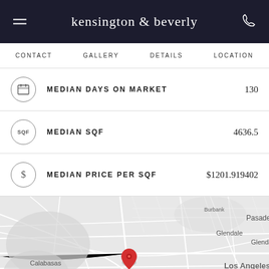kensington & beverly
CONTACT  GALLERY  DETAILS  LOCATION
| Icon | Metric | Value |
| --- | --- | --- |
| [calendar icon] | MEDIAN DAYS ON MARKET | 130 |
| [sqf icon] | MEDIAN SQF | 4636.5 |
| [$] | MEDIAN PRICE PER SQF | $1201.919402 |
[Figure (map): Google Maps view centered on Beverly Hills, Los Angeles area. Red location pin placed on Beverly Hills. Surrounding locations visible include Calabasas, Topanga, Glendale, Pasadena, Santa Monica, Culver City, Burbank, and Los Angeles. Map data ©2022 Google. Keyboard shortcuts link and Terms of Use link visible.]